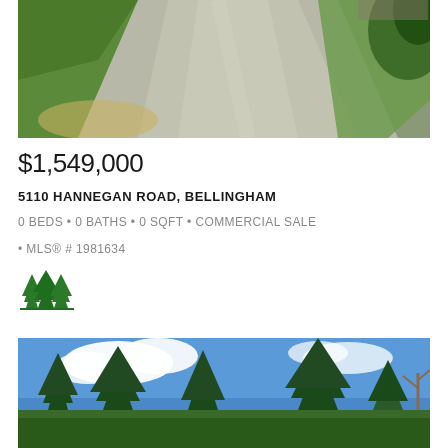[Figure (photo): Aerial/ground view of a gravel driveway with green grass on the sides, leading to a property]
$1,549,000
5110 HANNEGAN ROAD, BELLINGHAM
0 BEDS • 0 BATHS • 0 SQFT • COMMERCIAL SALE • MLS® # 1981634
[Figure (logo): Green stylized tree/mountain logo mark (John L. Scott or similar real estate brand)]
[Figure (photo): Landscape photo showing tall evergreen trees against a blue sky with white clouds]